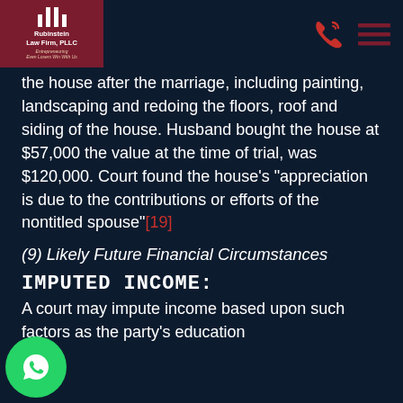Rubinstein Law Firm, PLLC — Entrepreneuring, Even Losers Win With Us
the house after the marriage, including painting, landscaping and redoing the floors, roof and siding of the house. Husband bought the house at $57,000 the value at the time of trial, was $120,000. Court found the house's "appreciation is due to the contributions or efforts of the nontitled spouse"[19]
(9) Likely Future Financial Circumstances
IMPUTED INCOME:
A court may impute income based upon such factors as the party's education